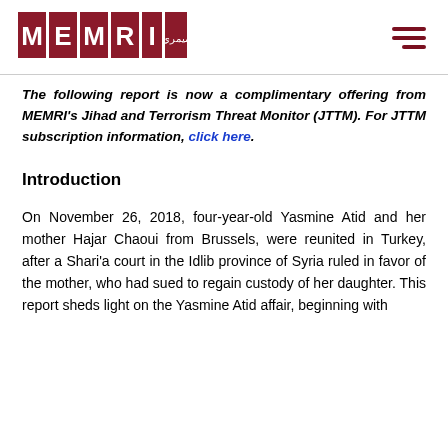[Figure (logo): MEMRI logo with red tiles spelling M E M R I with Arabic text]
The following report is now a complimentary offering from MEMRI's Jihad and Terrorism Threat Monitor (JTTM). For JTTM subscription information, click here.
Introduction
On November 26, 2018, four-year-old Yasmine Atid and her mother Hajar Chaoui from Brussels, were reunited in Turkey, after a Shari'a court in the Idlib province of Syria ruled in favor of the mother, who had sued to regain custody of her daughter. This report sheds light on the Yasmine Atid affair, beginning with